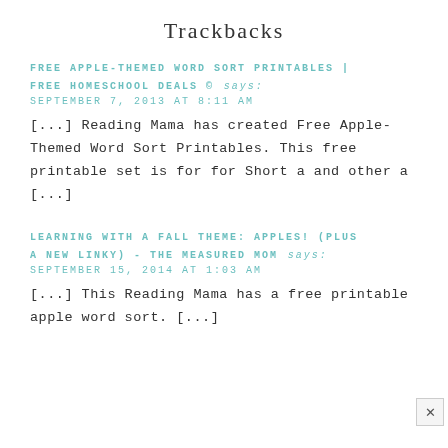Trackbacks
FREE APPLE-THEMED WORD SORT PRINTABLES | FREE HOMESCHOOL DEALS © says:
SEPTEMBER 7, 2013 AT 8:11 AM
[...] Reading Mama has created Free Apple-Themed Word Sort Printables. This free printable set is for for Short a and other a [...]
LEARNING WITH A FALL THEME: APPLES! (PLUS A NEW LINKY) - THE MEASURED MOM says:
SEPTEMBER 15, 2014 AT 1:03 AM
[...] This Reading Mama has a free printable apple word sort. [...]